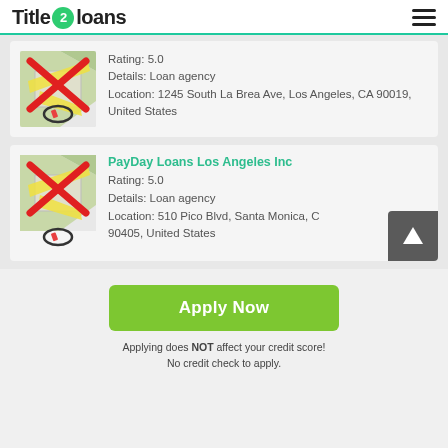Title 2 loans
Rating: 5.0
Details: Loan agency
Location: 1245 South La Brea Ave, Los Angeles, CA 90019, United States
PayDay Loans Los Angeles Inc
Rating: 5.0
Details: Loan agency
Location: 510 Pico Blvd, Santa Monica, CA 90405, United States
Apply Now
Applying does NOT affect your credit score!
No credit check to apply.